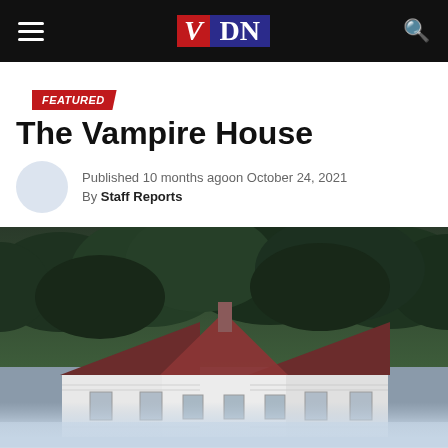VDN — hamburger menu and search icon
FEATURED
The Vampire House
Published 10 months agoon October 24, 2021
By Staff Reports
[Figure (photo): A white farmhouse with dark red roof surrounded by dense trees and heavy ground fog, giving an eerie, mysterious atmosphere.]